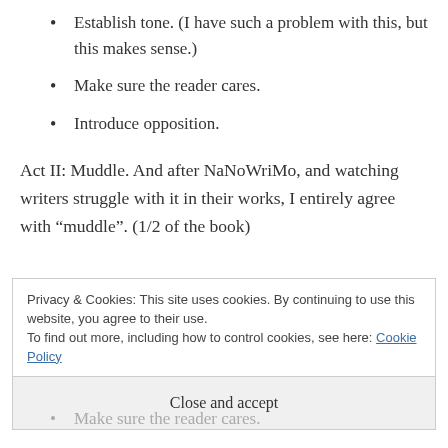Establish tone. (I have such a problem with this, but this makes sense.)
Make sure the reader cares.
Introduce opposition.
Act II: Muddle. And after NaNoWriMo, and watching writers struggle with it in their works, I entirely agree with “muddle”. (1/2 of the book)
Privacy & Cookies: This site uses cookies. By continuing to use this website, you agree to their use.
To find out more, including how to control cookies, see here: Cookie Policy
Close and accept
Make sure the reader cares.